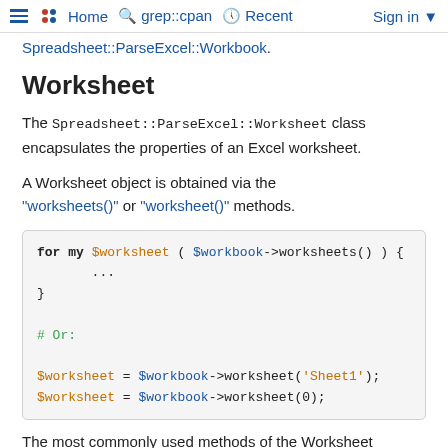Home   grep::cpan   Recent   Sign in
Spreadsheet::ParseExcel::Workbook.
Worksheet
The Spreadsheet::ParseExcel::Worksheet class encapsulates the properties of an Excel worksheet.
A Worksheet object is obtained via the "worksheets()" or "worksheet()" methods.
[Figure (screenshot): Perl code block showing: for my $worksheet ( $workbook->worksheets() ) { ... }  # Or:  $worksheet = $workbook->worksheet('Sheet1'); $worksheet = $workbook->worksheet(0);]
The most commonly used methods of the Worksheet class are: